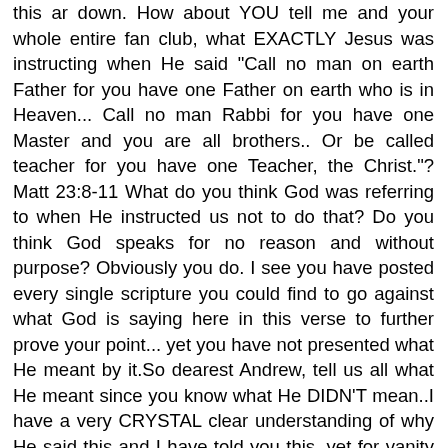this ar down. How about YOU tell me and your whole entire fan club, what EXACTLY Jesus was instructing when He said "Call no man on earth Father for you have one Father on earth who is in Heaven... Call no man Rabbi for you have one Master and you are all brothers.. Or be called teacher for you have one Teacher, the Christ."? Matt 23:8-11 What do you think God was referring to when He instructed us not to do that? Do you think God speaks for no reason and without purpose? Obviously you do. I see you have posted every single scripture you could find to go against what God is saying here in this verse to further prove your point... yet you have not presented what He meant by it.So dearest Andrew, tell us all what He meant since you know what He DIDN'T mean..I have a very CRYSTAL clear understanding of why He said this and I have told you this, yet for vanity purposes, you are unwilling to see that.. So how about you tell us all since you went to "great lenghts" to retrieve ALL of this "without-a-point" information. We all would gladly appreciate it. No need to make it look pretty with pictures and what have you, I am not impressed..Your fanclub may be though, seeing how they have to depend on you to defend their faith because they don't have their own understanding.They just go with